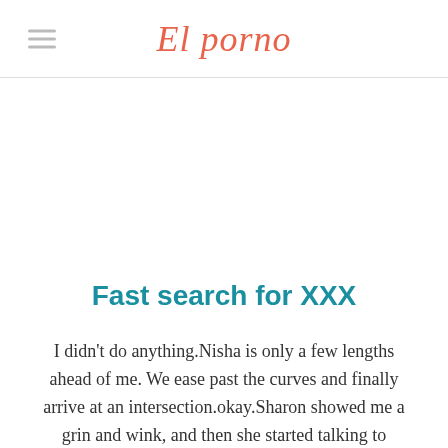El porno
Fast search for XXX
I didn't do anything.Nisha is only a few lengths ahead of me. We ease past the curves and finally arrive at an intersection.okay.Sharon showed me a grin and wink, and then she started talking to Harvey.We had to buy so many new things."It is done!Jon told me to wear my new skirt and a baggy cropped top.Newlyn